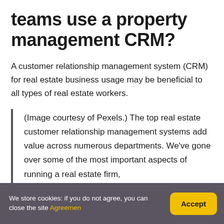teams use a property management CRM?
A customer relationship management system (CRM) for real estate business usage may be beneficial to all types of real estate workers.
(Image courtesy of Pexels.) The top real estate customer relationship management systems add value across numerous departments. We’ve gone over some of the most important aspects of running a real estate firm,
We store cookies: if you do not agree, you can close the site Agreement